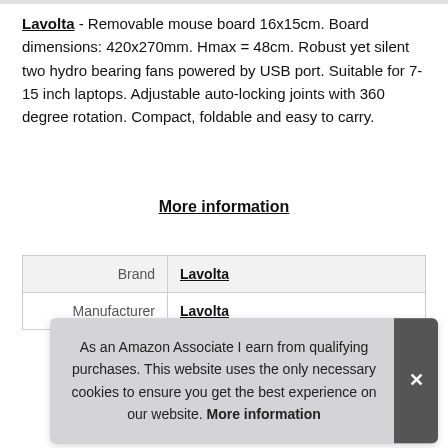Lavolta - Removable mouse board 16x15cm. Board dimensions: 420x270mm. Hmax = 48cm. Robust yet silent two hydro bearing fans powered by USB port. Suitable for 7-15 inch laptops. Adjustable auto-locking joints with 360 degree rotation. Compact, foldable and easy to carry.
More information
|  |  |
| --- | --- |
| Brand | Lavolta |
| Manufacturer | Lavolta |
As an Amazon Associate I earn from qualifying purchases. This website uses the only necessary cookies to ensure you get the best experience on our website. More information